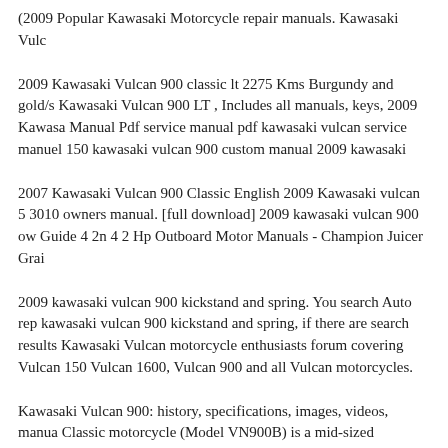(2009 Popular Kawasaki Motorcycle repair manuals. Kawasaki Vulc...
2009 Kawasaki Vulcan 900 classic lt 2275 Kms Burgundy and gold/s... Kawasaki Vulcan 900 LT , Includes all manuals, keys, 2009 Kawasa... Manual Pdf service manual pdf kawasaki vulcan service manuel 150... kawasaki vulcan 900 custom manual 2009 kawasaki
2007 Kawasaki Vulcan 900 Classic English 2009 Kawasaki vulcan 5... 3010 owners manual. [full download] 2009 kawasaki vulcan 900 ow... Guide 4 2n 4 2 Hp Outboard Motor Manuals - Champion Juicer Grai...
2009 kawasaki vulcan 900 kickstand and spring. You search Auto rep... kawasaki vulcan 900 kickstand and spring, if there are search results... Kawasaki Vulcan motorcycle enthusiasts forum covering Vulcan 150... Vulcan 1600, Vulcan 900 and all Vulcan motorcycles.
Kawasaki Vulcan 900: history, specifications, images, videos, manua... Classic motorcycle (Model VN900B) is a mid-sized motorcycle cruis... introduced in 2006. 2009 …